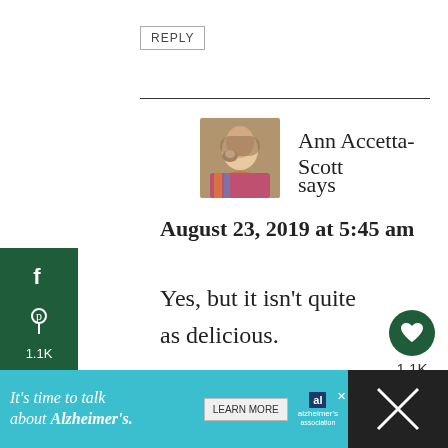REPLY
[Figure (photo): Profile photo of Ann Accetta-Scott, a woman with a goat]
Ann Accetta-Scott says
August 23, 2019 at 5:45 am
Yes, but it isn't quite as delicious.
REPLY
[Figure (infographic): Dark green social sidebar with Facebook f icon, Pinterest p icon, and count 1.1K]
[Figure (infographic): Heart button (dark green circle), count 1.1K, and share button]
[Figure (infographic): Ad banner: It's time to talk about Alzheimer's. LEARN MORE button. Alzheimer's Association logo.]